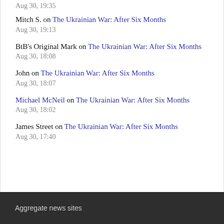Aug 30, 19:35
Mitch S. on The Ukrainian War: After Six Months
Aug 30, 19:13
BtB's Original Mark on The Ukrainian War: After Six Months
Aug 30, 18:08
John on The Ukrainian War: After Six Months
Aug 30, 18:07
Michael McNeil on The Ukrainian War: After Six Months
Aug 30, 18:02
James Street on The Ukrainian War: After Six Months
Aug 30, 17:40
Aggregate news sites